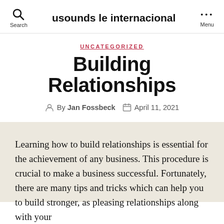usounds le internacional
UNCATEGORIZED
Building Relationships
By Jan Fossbeck  April 11, 2021
Learning how to build relationships is essential for the achievement of any business. This procedure is crucial to make a business successful. Fortunately, there are many tips and tricks which can help you to build stronger, as pleasing relationships along with your